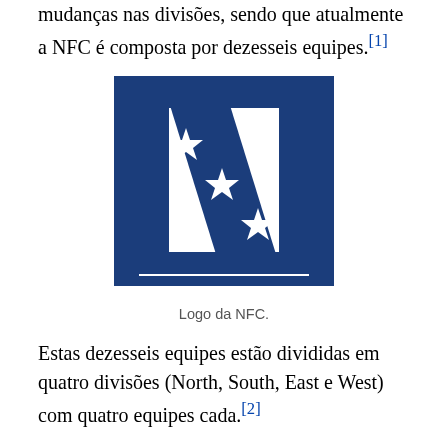mudanças nas divisões, sendo que atualmente a NFC é composta por dezesseis equipes.[1]
[Figure (logo): NFC (National Football Conference) logo: dark navy blue stylized letter N with three white stars arranged diagonally across it.]
Logo da NFC.
Estas dezesseis equipes estão divididas em quatro divisões (North, South, East e West) com quatro equipes cada.[2]
No final da temporada regular, as quatro equipes líderes de sua divisão classificam-se para os playoffs da NFC junto com as outras duas equipes de melhor campanha